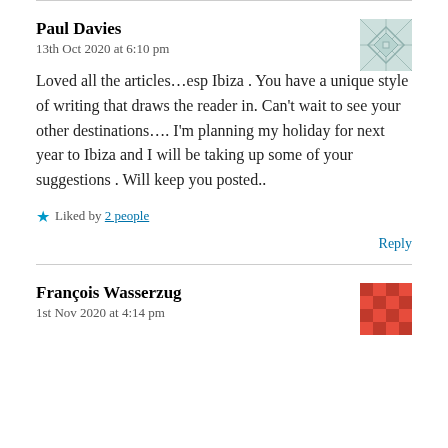Paul Davies
13th Oct 2020 at 6:10 pm
Loved all the articles…esp Ibiza . You have a unique style of writing that draws the reader in. Can't wait to see your other destinations…. I'm planning my holiday for next year to Ibiza and I will be taking up some of your suggestions . Will keep you posted..
Liked by 2 people
Reply
François Wasserzug
1st Nov 2020 at 4:14 pm